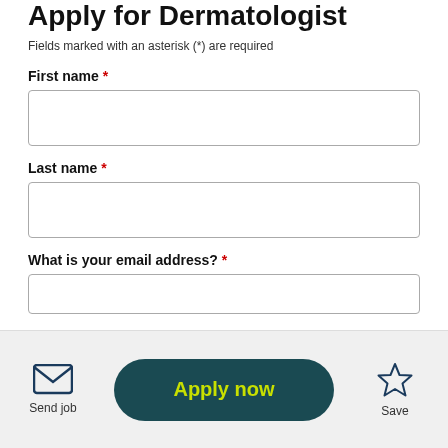Apply for Dermatologist
Fields marked with an asterisk (*) are required
First name *
Last name *
What is your email address? *